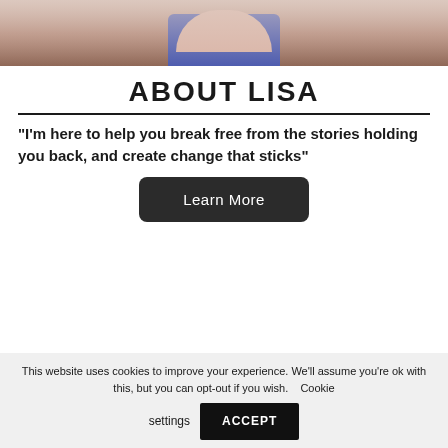[Figure (photo): Photo of Lisa, cropped at torso, arms crossed, wearing pink top and blue skirt, outdoors with greenery background]
ABOUT LISA
"I'm here to help you break free from the stories holding you back, and create change that sticks"
Learn More
This website uses cookies to improve your experience. We'll assume you're ok with this, but you can opt-out if you wish.   Cookie settings   ACCEPT